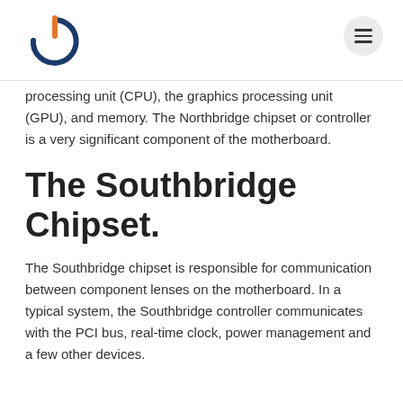[Figure (logo): Power button icon logo in blue and orange]
processing unit (CPU), the graphics processing unit (GPU), and memory. The Northbridge chipset or controller is a very significant component of the motherboard.
The Southbridge Chipset.
The Southbridge chipset is responsible for communication between component lenses on the motherboard. In a typical system, the Southbridge controller communicates with the PCI bus, real-time clock, power management and a few other devices.